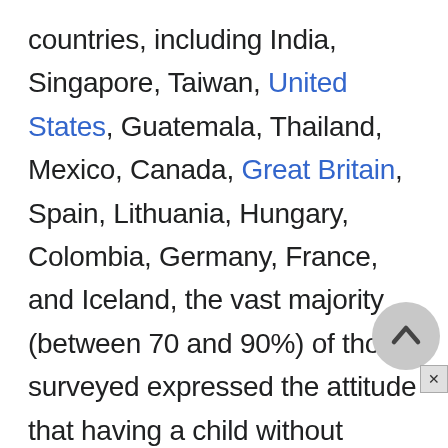countries, including India, Singapore, Taiwan, United States, Guatemala, Thailand, Mexico, Canada, Great Britain, Spain, Lithuania, Hungary, Colombia, Germany, France, and Iceland, the vast majority (between 70 and 90%) of those surveyed expressed the attitude that having a child without benefit of marriage is not morally wrong (Gallup Poll 1997). Half of the U.S. respondents said that having a child out-of-wedlock was morally wrong, yet the United States